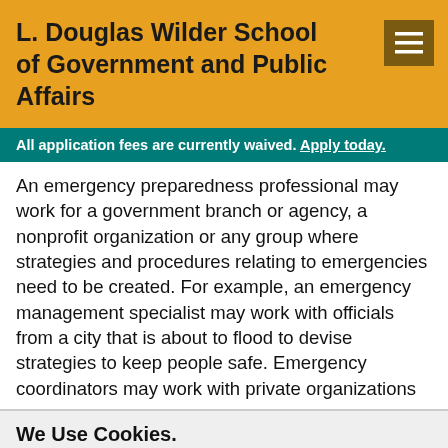L. Douglas Wilder School of Government and Public Affairs
All application fees are currently waived. Apply today.
An emergency preparedness professional may work for a government branch or agency, a nonprofit organization or any group where strategies and procedures relating to emergencies need to be created. For example, an emergency management specialist may work with officials from a city that is about to flood to devise strategies to keep people safe. Emergency coordinators may work with private organizations
We Use Cookies.
We use cookies to improve your experience with the website and to help us understand your interactions with the website such as pages you have visited, content you have viewed, and advertisements you have seen. For more information see our Privacy Policy. By using our website, you consent to the use of cookies.
Accept & Hide Message
Show details